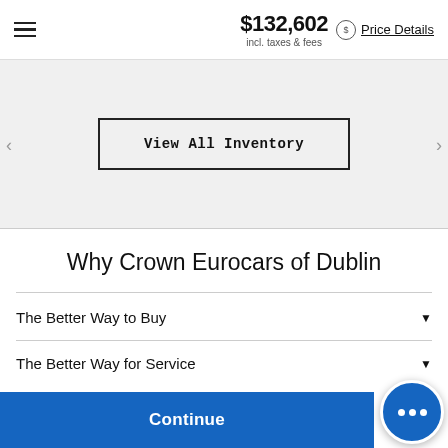$132,602 incl. taxes & fees | Price Details
View All Inventory
Why Crown Eurocars of Dublin
The Better Way to Buy
The Better Way for Service
Continue